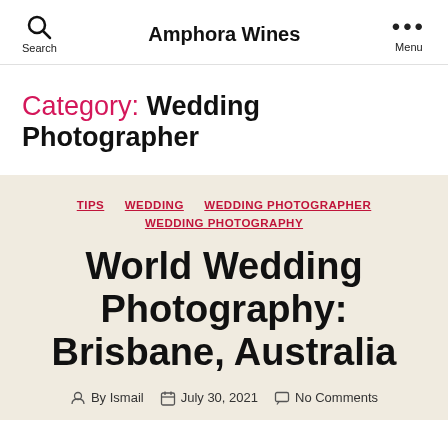Amphora Wines
Category: Wedding Photographer
TIPS  WEDDING  WEDDING PHOTOGRAPHER  WEDDING PHOTOGRAPHY
World Wedding Photography: Brisbane, Australia
By Ismail   July 30, 2021   No Comments